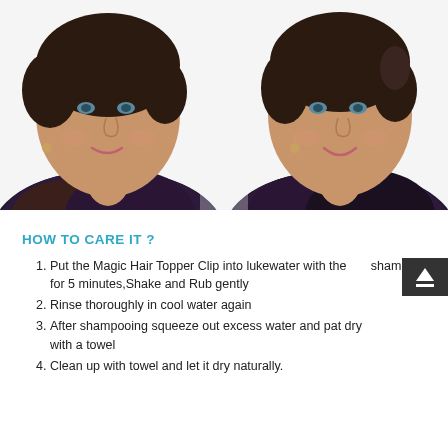[Figure (photo): Two middle-aged women with short dark hair shown side by side, both smiling, wearing patterned blouses. White background. Appears to be a before/after or comparison photo for a hair topper product.]
HOW TO CARE IT ?
Put the Magic Hair Topper Clip into lukewater with the shampoo for 5 minutes,Shake and Rub gently
Rinse thoroughly in cool water again
After shampooing squeeze out excess water and pat dry with a towel
Clean up with towel and let it dry naturally.